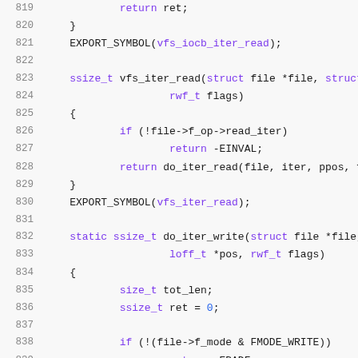Source code listing, lines 819-839, C kernel code for VFS iterator read/write functions